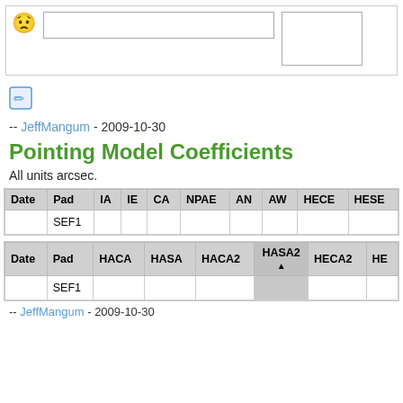[Figure (screenshot): Top UI box with sad emoji icon, a text input field, and a right side box]
[Figure (screenshot): Edit/pencil icon button (blue)]
-- JeffMangum - 2009-10-30
Pointing Model Coefficients
All units arcsec.
| Date | Pad | IA | IE | CA | NPAE | AN | AW | HECE | HESE |
| --- | --- | --- | --- | --- | --- | --- | --- | --- | --- |
|  | SEF1 |  |  |  |  |  |  |  |  |
| Date | Pad | HACA | HASA | HACA2 | HASA2 ▲ | HECA2 | HE… |
| --- | --- | --- | --- | --- | --- | --- | --- |
|  | SEF1 |  |  |  |  |  |  |
-- JeffMangum - 2009-10-30